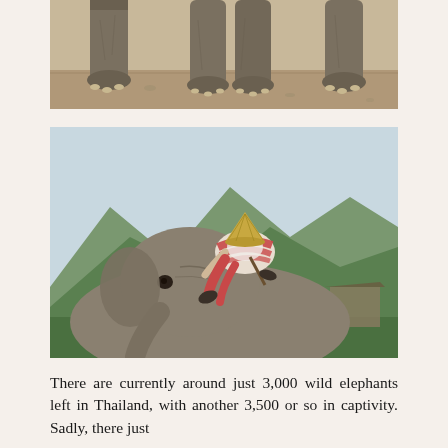[Figure (photo): Close-up photograph of elephant legs and feet standing on sandy/dusty ground, showing three elephants' lower legs]
[Figure (photo): Photograph of a person wearing traditional clothing and a woven hat, climbing or sitting on top of an elephant's head and neck, with lush green mountains and trees in the background]
There are currently around just 3,000 wild elephants left in Thailand, with another 3,500 or so in captivity. Sadly, there just